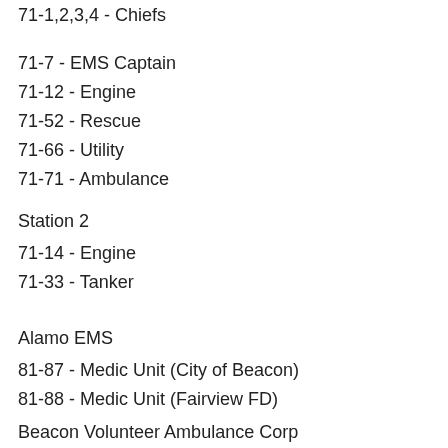71-1,2,3,4 - Chiefs
71-7 - EMS Captain
71-12 - Engine
71-52 - Rescue
71-66 - Utility
71-71 - Ambulance
Station 2
71-14 - Engine
71-33 - Tanker
Alamo EMS
81-87 - Medic Unit (City of Beacon)
81-88 - Medic Unit (Fairview FD)
Beacon Volunteer Ambulance Corp
82-1,2,3 - Captains